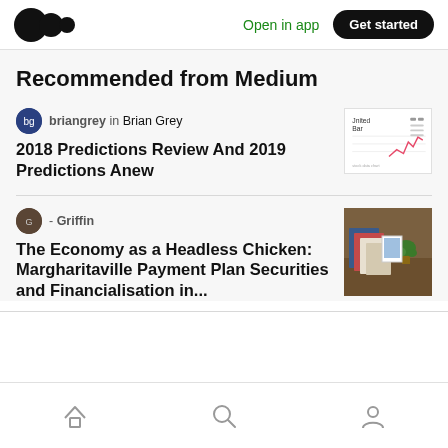Open in app | Get started
Recommended from Medium
briangrey in Brian Grey
2018 Predictions Review And 2019 Predictions Anew
[Figure (screenshot): Thumbnail image of a stock chart with 'United Bar' label and pink line graph]
- Griffin
The Economy as a Headless Chicken: Margharitaville Payment Plan Securities and Financialisation in...
[Figure (photo): Thumbnail photo showing books and papers on a desk with a plant]